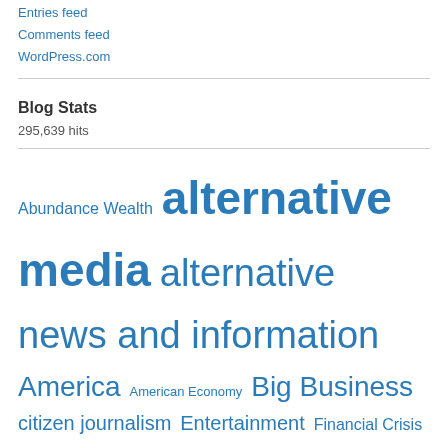Entries feed
Comments feed
WordPress.com
Blog Stats
295,639 hits
Abundance Wealth alternative media alternative news and information America American Economy Big Business citizen journalism Entertainment Financial Crisis Highlight Video Human Potential Human